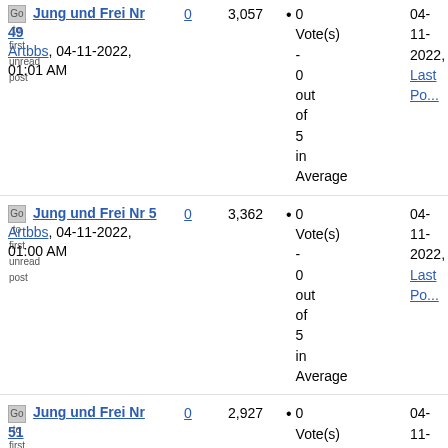Go to first unread post Jung und Frei Nr 49 Artbbs, 04-11-2022, 01:01 AM | Replies: 0 | Views: 3,057 | Rating: 0 Vote(s) - 0 out of 5 in Average | Last Post: 04-11-2022, Last Po...
Go to first unread post Jung und Frei Nr 5 Artbbs, 04-11-2022, 01:00 AM | Replies: 0 | Views: 3,362 | Rating: 0 Vote(s) - 0 out of 5 in Average | Last Post: 04-11-2022, Last Po...
Go to first unread post Jung und Frei Nr 51 | Replies: 0 | Views: 2,927 | Rating: 0 Vote(s) - 0 out of 5 in Average | Last Post: 04-11-2022, Last Po...